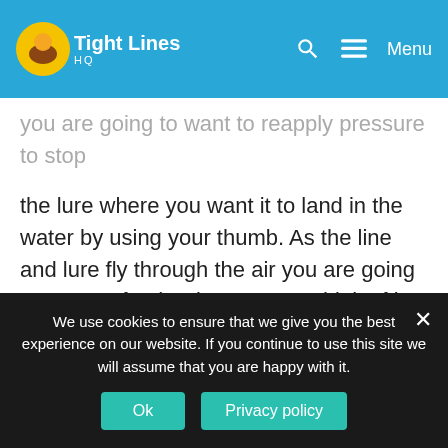Tight Lines HD — Menu
you are going to want to reapply pressure to stop the lure where you want it to land in the water by using your thumb. As the line and lure fly through the air you are going to want to feather it to a stop. Think of it like braking a car as you approach a red light. Small bursts and continuous increase in pressure to slow the line will give you a nice smooth landing onto the target.
Unlike some other reels on the market, if you do not stop the line properly then you can let out too
We use cookies to ensure that we give you the best experience on our website. If you continue to use this site we will assume that you are happy with it.